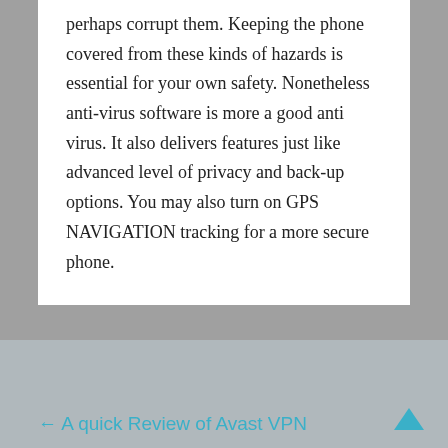perhaps corrupt them. Keeping the phone covered from these kinds of hazards is essential for your own safety. Nonetheless anti-virus software is more a good anti virus. It also delivers features just like advanced level of privacy and back-up options. You may also turn on GPS NAVIGATION tracking for a more secure phone.
← A quick Review of Avast VPN
ExpressVPN Vs NordVPN Comparison →